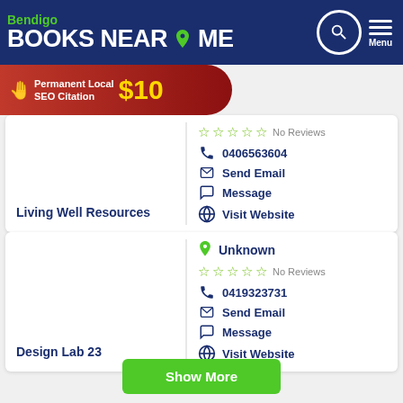Bendigo BOOKS NEAR ME
[Figure (screenshot): Red ad banner: Permanent Local SEO Citation $10]
Living Well Resources — No Reviews, 0406563604, Send Email, Message, Visit Website
Design Lab 23 — Unknown, No Reviews, 0419323731, Send Email, Message, Visit Website
Show More